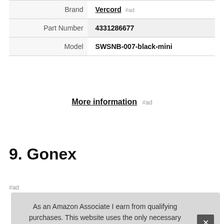|  |  |
| --- | --- |
| Brand | Vercord #ad |
| Part Number | 4331286677 |
| Model | SWSNB-007-black-mini |
More information #ad
9. Gonex
#ad
As an Amazon Associate I earn from qualifying purchases. This website uses the only necessary cookies to ensure you get the best experience on our website. More information